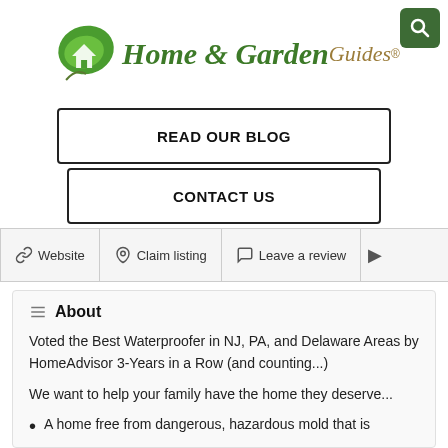[Figure (logo): Home & Garden Guides logo with green leaf icon and search button in top right corner]
READ OUR BLOG
CONTACT US
Website
Claim listing
Leave a review
About
Voted the Best Waterproofer in NJ, PA, and Delaware Areas by HomeAdvisor 3-Years in a Row (and counting...)
We want to help your family have the home they deserve...
A home free from dangerous, hazardous mold that is